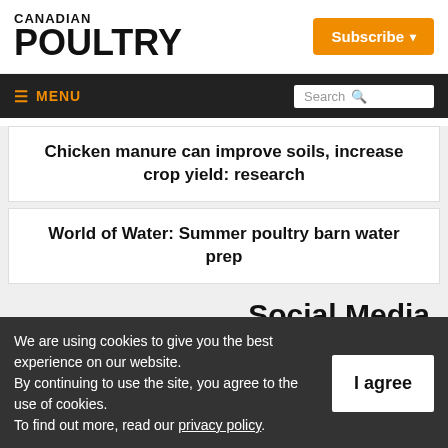CANADIAN POULTRY
Subscribe
MENU  Search
Chicken manure can improve soils, increase crop yield: research
World of Water: Summer poultry barn water prep
Social Media
We are using cookies to give you the best experience on our website. By continuing to use the site, you agree to the use of cookies. To find out more, read our privacy policy.
I agree